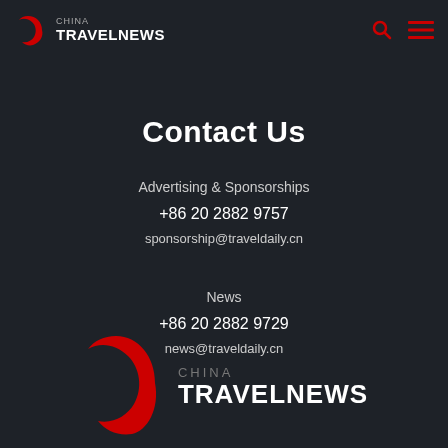[Figure (logo): China TravelNews logo - red crescent C shape with CHINA TRAVELNEWS text in header]
[Figure (other): Search icon (magnifying glass) and hamburger menu icon in red]
Contact Us
Advertising & Sponsorships
+86 20 2882 9757
sponsor ship@traveldaily.cn
News
+86 20 2882 9729
news@traveldaily.cn
[Figure (logo): China TravelNews large bottom logo - red crescent C shape with CHINA TRAVELNEWS text]